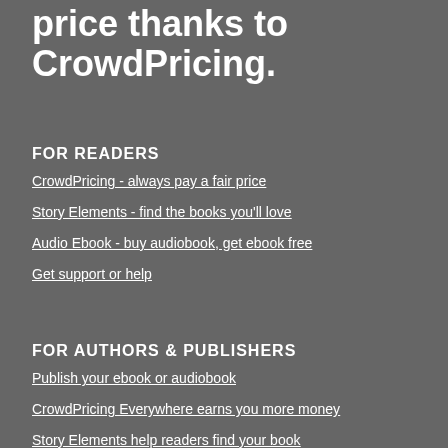price thanks to CrowdPricing.
FOR READERS
CrowdPricing - always pay a fair price
Story Elements - find the books you'll love
Audio Ebook - buy audiobook, get ebook free
Get support or help
FOR AUTHORS & PUBLISHERS
Publish your ebook or audiobook
CrowdPricing Everywhere earns you more money
Story Elements help readers find your book
How to record an audiobook